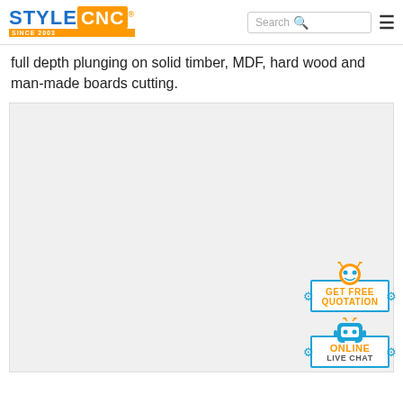STYLECNC - Search - Menu
full depth plunging on solid timber, MDF, hard wood and man-made boards cutting.
[Figure (other): Large light gray image placeholder area showing a CNC router or woodworking machine product image, with two floating UI widgets overlaid in the bottom-right corner: a 'GET FREE QUOTATION' robot widget and an 'ONLINE LIVE CHAT' robot widget, both in blue and orange colors.]